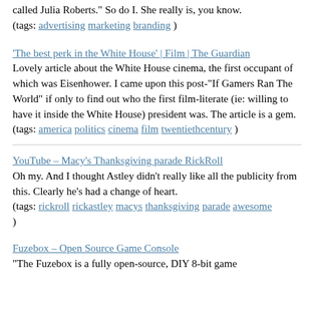called Julia Roberts." So do I. She really is, you know.
(tags: advertising marketing branding )
'The best perk in the White House' | Film | The Guardian
Lovely article about the White House cinema, the first occupant of which was Eisenhower. I came upon this post-"If Gamers Ran The World" if only to find out who the first film-literate (ie: willing to have it inside the White House) president was. The article is a gem.
(tags: america politics cinema film twentiethcentury )
YouTube – Macy's Thanksgiving parade RickRoll
Oh my. And I thought Astley didn't really like all the publicity from this. Clearly he's had a change of heart.
(tags: rickroll rickastley macys thanksgiving parade awesome )
Fuzebox – Open Source Game Console
"The Fuzebox is a fully open-source, DIY 8-bit game